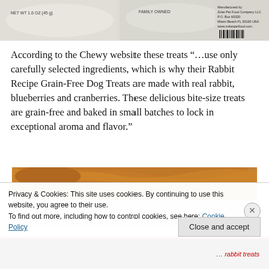[Figure (photo): Top portion of a dog treat package, showing partial text including 'NET WT' and 'FAMILY OWNED', with barcode and manufacturer info visible on the right side.]
According to the Chewy website these treats “…use only carefully selected ingredients, which is why their Rabbit Recipe Grain-Free Dog Treats are made with real rabbit, blueberries and cranberries. These delicious bite-size treats are grain-free and baked in small batches to lock in exceptional aroma and flavor.”
[Figure (photo): Close-up photo of a golden/brown dog's back and head, resting on a light-colored carpet.]
Privacy & Cookies: This site uses cookies. By continuing to use this website, you agree to their use.
To find out more, including how to control cookies, see here: Cookie Policy
Close and accept